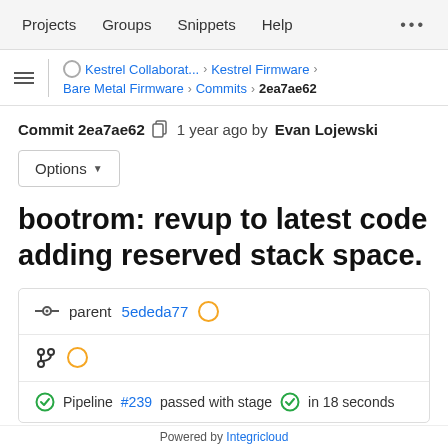Projects   Groups   Snippets   Help   ...
≡  |  ○ Kestrel Collaborat... › Kestrel Firmware › Bare Metal Firmware › Commits › 2ea7ae62
Commit 2ea7ae62  1 year ago by Evan Lojewski
Options ▾
bootrom: revup to latest code adding reserved stack space.
parent 5ededa77
Pipeline #239 passed with stage  in 18 seconds
Powered by Integricloud